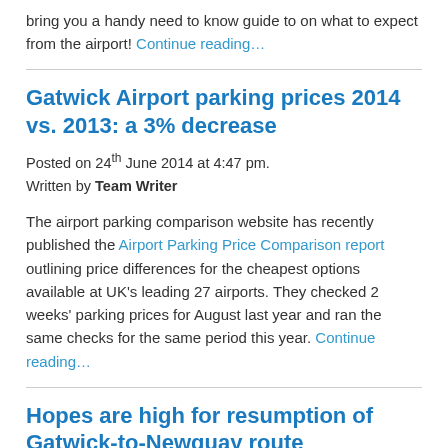bring you a handy need to know guide to on what to expect from the airport! Continue reading…
Gatwick Airport parking prices 2014 vs. 2013: a 3% decrease
Posted on 24th June 2014 at 4:47 pm.
Written by Team Writer
The airport parking comparison website has recently published the Airport Parking Price Comparison report outlining price differences for the cheapest options available at UK's leading 27 airports. They checked 2 weeks' parking prices for August last year and ran the same checks for the same period this year. Continue reading…
Hopes are high for resumption of Gatwick-to-Newquay route